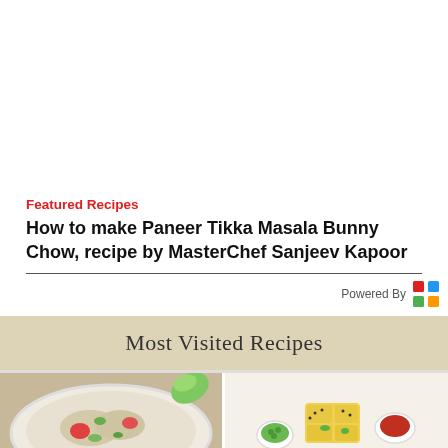Featured Recipes
How to make Paneer Tikka Masala Bunny Chow, recipe by MasterChef Sanjeev Kapoor
Powered By
Most Visited Recipes
[Figure (photo): Two food photos side by side: left shows a rice/vegetable dish, right shows yellow dhokla or similar snack with dipping sauces]